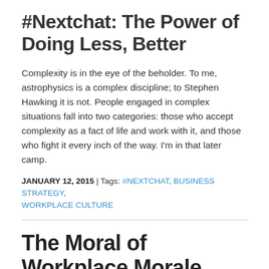#Nextchat: The Power of Doing Less, Better
Complexity is in the eye of the beholder. To me, astrophysics is a complex discipline; to Stephen Hawking it is not. People engaged in complex situations fall into two categories: those who accept complexity as a fact of life and work with it, and those who fight it every inch of the way. I’m in that later camp.
JANUARY 12, 2015 | Tags: #NEXTCHAT, BUSINESS STRATEGY, WORKPLACE CULTURE
The Moral of Workplace Morale
When it comes to workplace morale, there is no shortage of articles suggesting the ways and means to build and/or